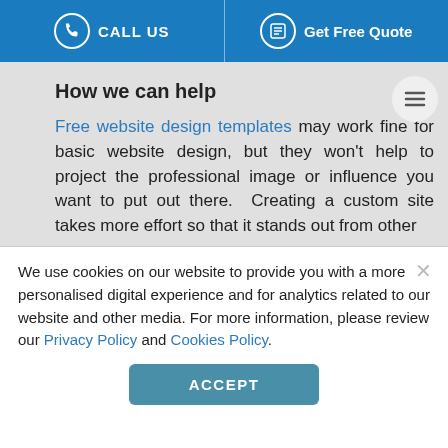CALL US | Get Free Quote
How we can help
Free website design templates may work fine for basic website design, but they won't help to project the professional image or influence you want to put out there. Creating a custom site takes more effort so that it stands out from other
We use cookies on our website to provide you with a more personalised digital experience and for analytics related to our website and other media. For more information, please review our Privacy Policy and Cookies Policy.
ACCEPT